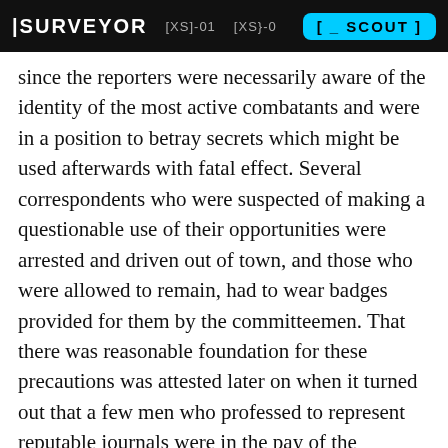|SURVEYOR   [XS]-01   [XS}-0   [ _ SCOUT ]
since the reporters were necessarily aware of the identity of the most active combatants and were in a position to betray secrets which might be used afterwards with fatal effect. Several correspondents who were suspected of making a questionable use of their opportunities were arrested and driven out of town, and those who were allowed to remain, had to wear badges provided for them by the committeemen. That there was reasonable foundation for these precautions was attested later on when it turned out that a few men who professed to represent reputable journals were in the pay of the Carnegie Company. One of these spies held credentials from a well known Chicago newspaper.